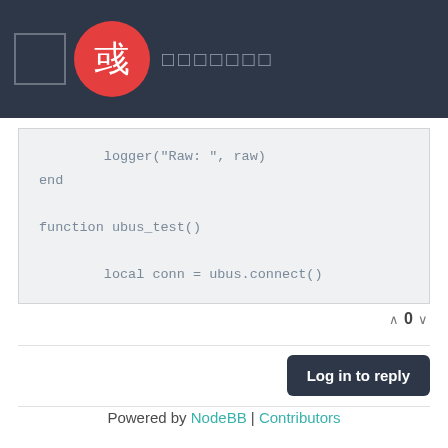◻ 彧 □□□□□□□
[Figure (screenshot): Code block showing Lua code: logger("Raw: ", raw) / end / function ubus_test() / local conn = ubus.connect()]
∧ 0 ∨
Log in to reply
Powered by NodeBB | Contributors